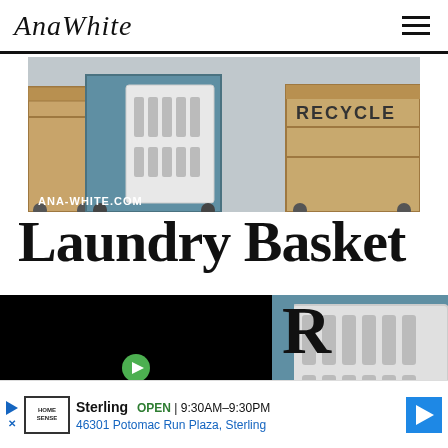AnaWhite [navigation logo and hamburger menu]
[Figure (photo): Photo of laundry basket storage crates on wheels including a wooden crate on left, blue painted crate in center with white laundry basket, and a wooden recycle crate on right. Watermark reads ANA-WHITE.COM]
Laundry Basket [Dresser]
[Figure (photo): Video thumbnail overlay (black) with green play button, and partial photo of blue crate with white laundry basket]
R
Sterling  OPEN | 9:30AM-9:30PM  46301 Potomac Run Plaza, Sterling